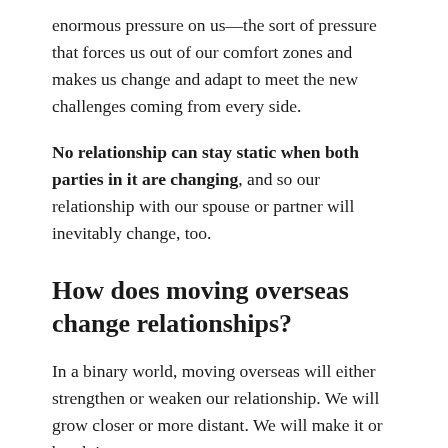enormous pressure on us—the sort of pressure that forces us out of our comfort zones and makes us change and adapt to meet the new challenges coming from every side.
No relationship can stay static when both parties in it are changing, and so our relationship with our spouse or partner will inevitably change, too.
How does moving overseas change relationships?
In a binary world, moving overseas will either strengthen or weaken our relationship. We will grow closer or more distant. We will make it or break it.